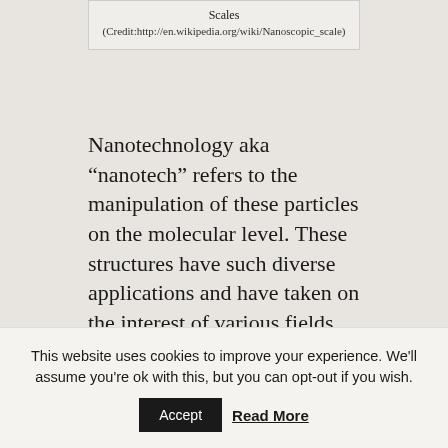Scales
(Credit:http://en.wikipedia.org/wiki/Nanoscopic_scale)
Nanotechnology aka “nanotech” refers to the manipulation of these particles on the molecular level. These structures have such diverse applications and have taken on the interest of various fields including, but not limited to: science, medicine, and government. The applications run the gamet from self-cleaning products to quantum computing and medicine to solar energy. As
This website uses cookies to improve your experience. We’ll assume you’re ok with this, but you can opt-out if you wish.
Accept   Read More